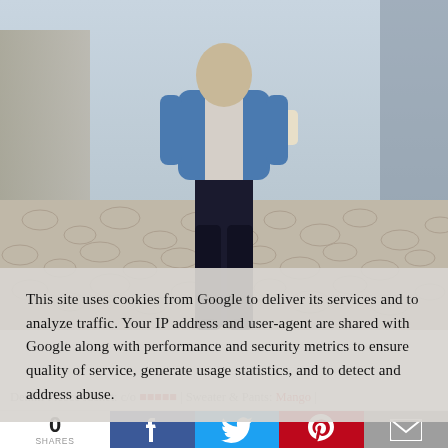[Figure (photo): Person walking on cobblestone street wearing a denim fleece jacket, sweater and dark pants, holding a light-colored bag]
This site uses cookies from Google to deliver its services and to analyze traffic. Your IP address and user-agent are shared with Google along with performance and security metrics to ensure quality of service, generate usage statistics, and to detect and address abuse.
Denim Fleece Jacket: c/o XX** | Sweater & Pants: Mango |
0 SHARES